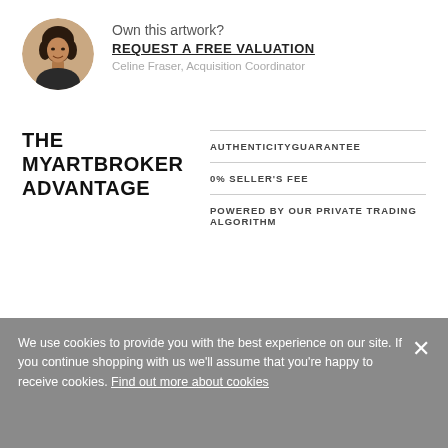[Figure (photo): Circular avatar photo of Celine Fraser, Acquisition Coordinator]
Own this artwork?
REQUEST A FREE VALUATION
Celine Fraser, Acquisition Coordinator
THE MYARTBROKER ADVANTAGE
AUTHENTICITY GUARANTEE
0% SELLER'S FEE
POWERED BY OUR PRIVATE TRADING ALGORITHM
CRITICAL REVIEW
We use cookies to provide you with the best experience on our site. If you continue shopping with us we'll assume that you're happy to receive cookies. Find out more about cookies